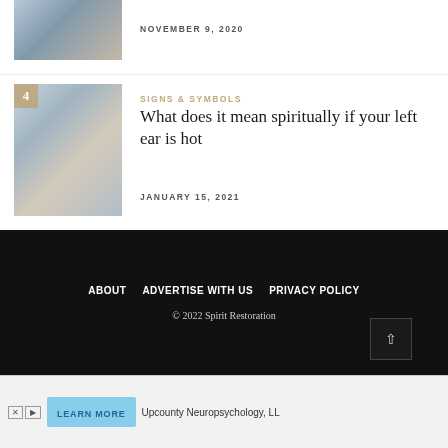[Figure (photo): Person sitting by the ocean, viewed from behind, scenic coastal image]
NOVEMBER 9, 2020
[Figure (photo): Rocks balanced by the sea with cloudy sky, peaceful nature scene, numbered 4]
SIGNS & SYMBOLS
What does it mean spiritually if your left ear is hot
JANUARY 15, 2021
ABOUT   ADVERTISE WITH US   PRIVACY POLICY
© 2022 Spirit Restoration